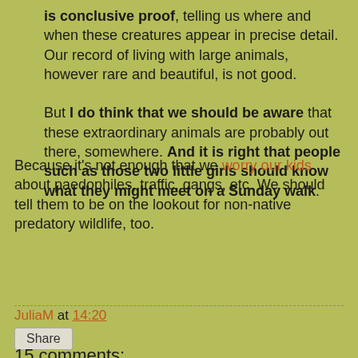is conclusive proof, telling us where and when these creatures appear in precise detail. Our record of living with large animals, however rare and beautiful, is not good.
But I do think that we should be aware that these extraordinary animals are probably out there, somewhere. And it is right that people such as those two little girls should know what they might meet on a Sunday walk.
Because it's not enough that we worry our kids about paedophiles, traffic, gangs, etc. We should tell them to be on the lookout for non-native predatory wildlife, too.
JuliaM at 14:20
Share
15 comments: